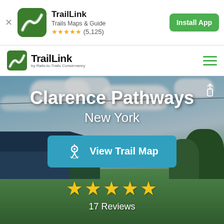[Figure (screenshot): App install banner with TrailLink icon, app name, rating, and Install App button]
[Figure (screenshot): TrailLink website navigation header with logo and hamburger menu]
[Figure (photo): Hero image of Clarence Pathways trail in New York showing rural landscape with blue sky and clouds, farm buildings, and green fields with cows]
Clarence Pathways
New York
View Trail Map
★★★★★ 17 Reviews